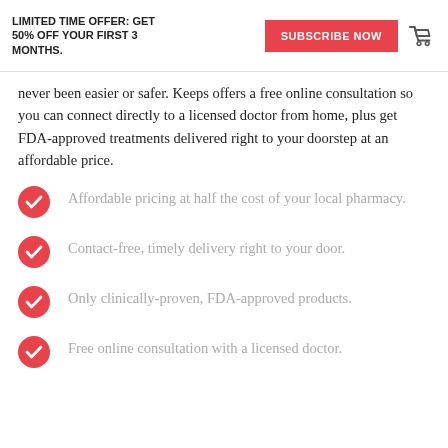LIMITED TIME OFFER: GET 50% OFF YOUR FIRST 3 MONTHS.
never been easier or safer. Keeps offers a free online consultation so you can connect directly to a licensed doctor from home, plus get FDA-approved treatments delivered right to your doorstep at an affordable price.
Affordable pricing at half the cost of your local pharmacy.
Contact-free, timely delivery right to your door.
Only clinically-proven, FDA-approved products.
Free online consultation with a licensed doctor.